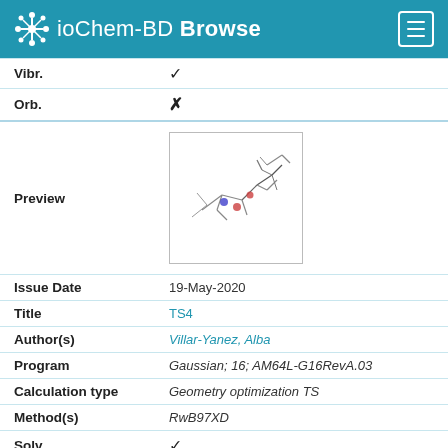ioChem-BD Browse
| Field | Value |
| --- | --- |
| Vibr. | ✓ |
| Orb. | ✗ |
| Preview | [molecular structure image] |
| Issue Date | 19-May-2020 |
| Title | TS4 |
| Author(s) | Villar-Yanez, Alba |
| Program | Gaussian; 16; AM64L-G16RevA.03 |
| Calculation type | Geometry optimization TS |
| Method(s) | RwB97XD |
| Solv. | ✓ |
| Vibr. | ✓ |
| Orb. | ✗ |
| Preview | [molecular structure image 2] |